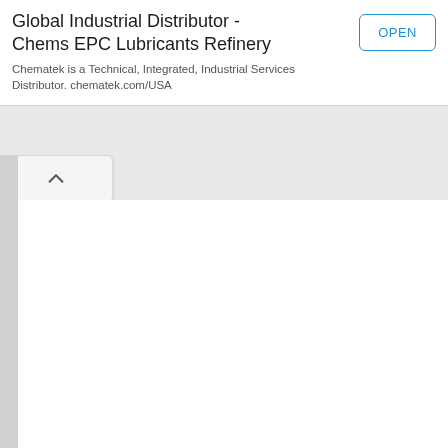Global Industrial Distributor - Chems EPC Lubricants Refinery
Chematek is a Technical, Integrated, Industrial Services Distributor. chematek.com/USA
[Figure (screenshot): OPEN button with blue border and blue text, part of an advertisement card UI element]
[Figure (screenshot): A drawer tab UI element with an upward chevron arrow, collapsible panel control]